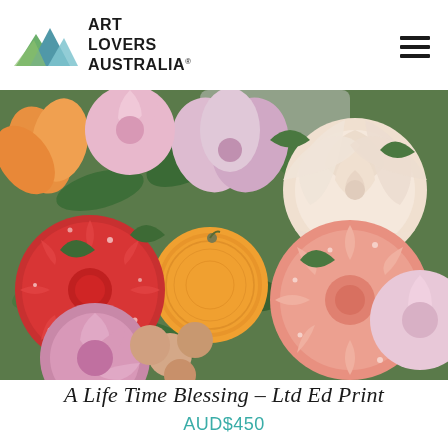Art Lovers Australia
[Figure (photo): A detailed painting of a lush floral arrangement featuring a red chrysanthemum, pink roses, an orange/tangerine, pink ranunculus, peach chrysanthemums, and large cream roses on a green leafy background.]
A Life Time Blessing – Ltd Ed Print
AUD$450